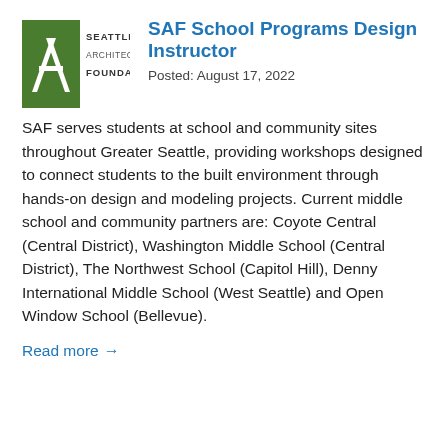[Figure (logo): Seattle Architecture Foundation logo — green square with stylized 'SAF' letter mark and text 'SEATTLE ARCHITECTURE FOUNDATION']
SAF School Programs Design Instructor
Posted: August 17, 2022
SAF serves students at school and community sites throughout Greater Seattle, providing workshops designed to connect students to the built environment through hands-on design and modeling projects. Current middle school and community partners are: Coyote Central (Central District), Washington Middle School (Central District), The Northwest School (Capitol Hill), Denny International Middle School (West Seattle) and Open Window School (Bellevue).
Read more →